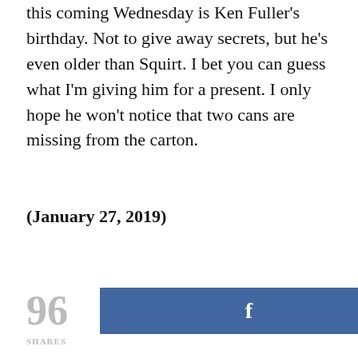this coming Wednesday is Ken Fuller's birthday. Not to give away secrets, but he's even older than Squirt. I bet you can guess what I'm giving him for a present. I only hope he won't notice that two cans are missing from the carton.
(January 27, 2019)
96 SHARES